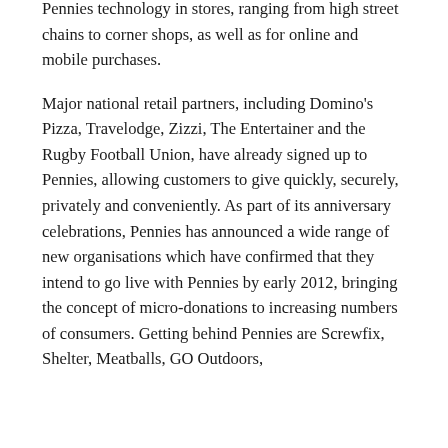Pennies technology in stores, ranging from high street chains to corner shops, as well as for online and mobile purchases.
Major national retail partners, including Domino's Pizza, Travelodge, Zizzi, The Entertainer and the Rugby Football Union, have already signed up to Pennies, allowing customers to give quickly, securely, privately and conveniently. As part of its anniversary celebrations, Pennies has announced a wide range of new organisations which have confirmed that they intend to go live with Pennies by early 2012, bringing the concept of micro-donations to increasing numbers of consumers. Getting behind Pennies are Screwfix, Shelter, Meatballs, GO Outdoors,